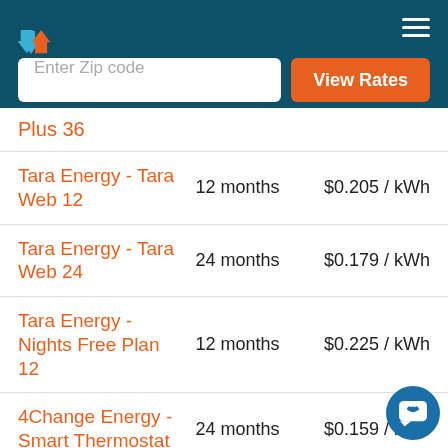Header navigation bar with logo and hamburger menu
Enter Zip code | View Rates
Plus 36
Tara Energy - Tara Web 12 | 12 months | $0.205 / kWh
Tara Energy - Tara Web 24 | 24 months | $0.179 / kWh
Tara Energy - Nights Free Plan 12 | 12 months | $0.225 / kWh
4Change Energy - Smart Thermostat | 24 months | $0.159 / kWh